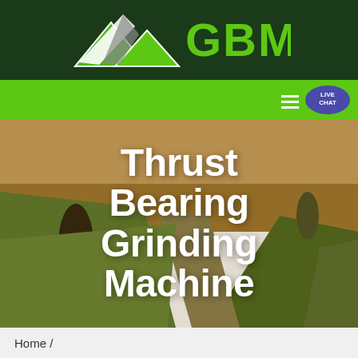[Figure (logo): GBM company logo with mountain/arrow graphic and green GBM text on dark green header background]
[Figure (screenshot): Green navigation bar with hamburger menu icon and LIVE CHAT speech bubble button on the right]
[Figure (photo): Aerial landscape photo of green rolling fields with a dark tree, used as hero background image]
Thrust Bearing Grinding Machine
Home /